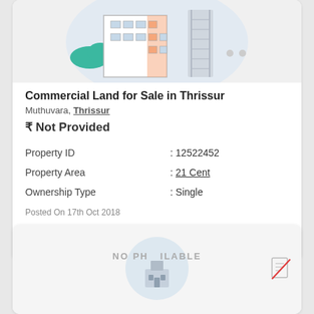[Figure (illustration): Illustration of a multi-story commercial building with teal and orange accents, cloud, and ladder graphic on a light gray background]
Commercial Land for Sale in Thrissur
Muthuvara, Thrissur
₹ Not Provided
| Property ID | : 12522452 |
| Property Area | : 21 Cent |
| Ownership Type | : Single |
Posted On 17th Oct 2018
[Figure (other): Action buttons row: share icon, VIEW DETAILS button, CONTACT button]
[Figure (illustration): Second listing card showing NO PHOTO AVAILABLE placeholder with a building icon and a crossed-out document icon on the right]